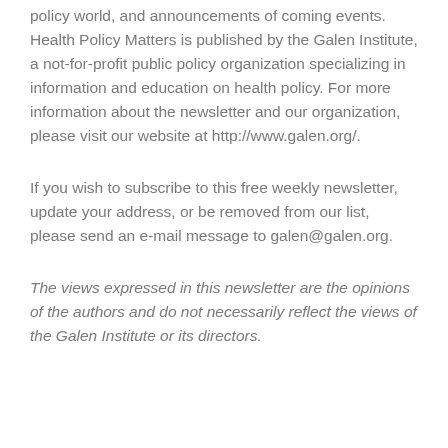policy world, and announcements of coming events. Health Policy Matters is published by the Galen Institute, a not-for-profit public policy organization specializing in information and education on health policy. For more information about the newsletter and our organization, please visit our website at http://www.galen.org/.
If you wish to subscribe to this free weekly newsletter, update your address, or be removed from our list, please send an e-mail message to galen@galen.org.
The views expressed in this newsletter are the opinions of the authors and do not necessarily reflect the views of the Galen Institute or its directors.